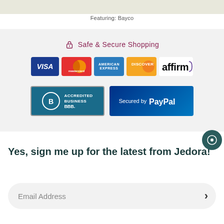[Figure (other): Map strip background showing partial map image]
Featuring: Bayco
[Figure (infographic): Safe & Secure Shopping section with payment logos: VISA, Mastercard, American Express, Discover, Affirm, BBB Accredited Business, Secured by PayPal]
Yes, sign me up for the latest from Jedora!
[Figure (other): Email address input field with right arrow submit button]